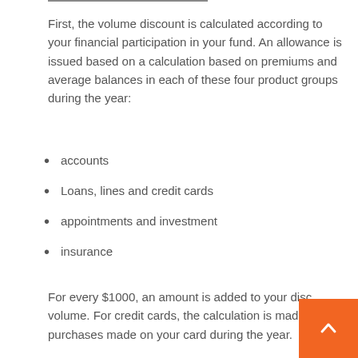First, the volume discount is calculated according to your financial participation in your fund. An allowance is issued based on a calculation based on premiums and average balances in each of these four product groups during the year:
accounts
Loans, lines and credit cards
appointments and investment
insurance
For every $1000, an amount is added to your disc volume. For credit cards, the calculation is made net purchases made on your card during the year.